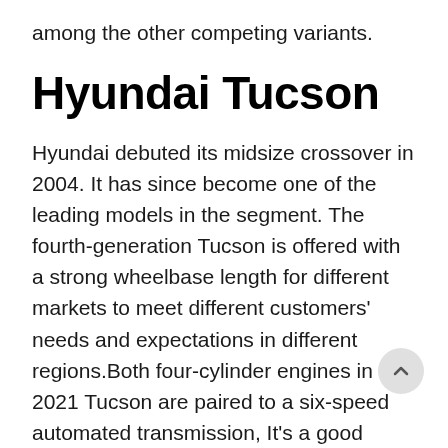among the other competing variants.
Hyundai Tucson
Hyundai debuted its midsize crossover in 2004. It has since become one of the leading models in the segment. The fourth-generation Tucson is offered with a strong wheelbase length for different markets to meet different customers' needs and expectations in different regions.Both four-cylinder engines in the 2021 Tucson are paired to a six-speed automated transmission, It's a good option that gets positive reviews for its superb entertainment system, smooth ride, and spacious interior. You can acquire a competitive small SUV at a budget-